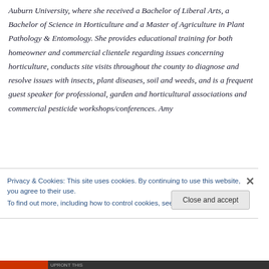Auburn University, where she received a Bachelor of Liberal Arts, a Bachelor of Science in Horticulture and a Master of Agriculture in Plant Pathology & Entomology. She provides educational training for both homeowner and commercial clientele regarding issues concerning horticulture, conducts site visits throughout the county to diagnose and resolve issues with insects, plant diseases, soil and weeds, and is a frequent guest speaker for professional, garden and horticultural associations and commercial pesticide workshops/conferences. Amy
Privacy & Cookies: This site uses cookies. By continuing to use this website, you agree to their use. To find out more, including how to control cookies, see here: Cookie Policy
Close and accept